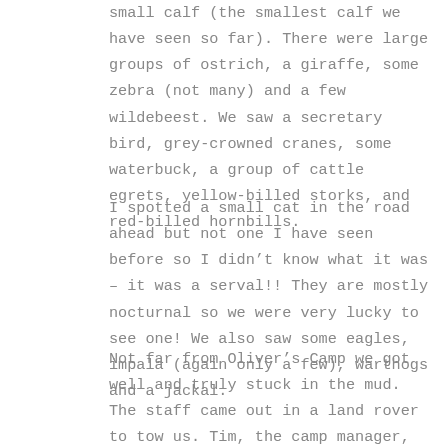small calf (the smallest calf we have seen so far). There were large groups of ostrich, a giraffe, some zebra (not many) and a few wildebeest. We saw a secretary bird, grey-crowned cranes, some waterbuck, a group of cattle egrets, yellow-billed storks, and red-billed hornbills.
I spotted a small cat in the road ahead but not one I have seen before so I didn't know what it was – it was a serval!! They are mostly nocturnal so we were very lucky to see one! We also saw some eagles, impala (again only a few), warthogs and a jackal.
Not far from Oliver's Camp we got well and truly stuck in the mud. The staff came out in a land rover to tow us. Tim, the camp manager, introduced himself and apologised